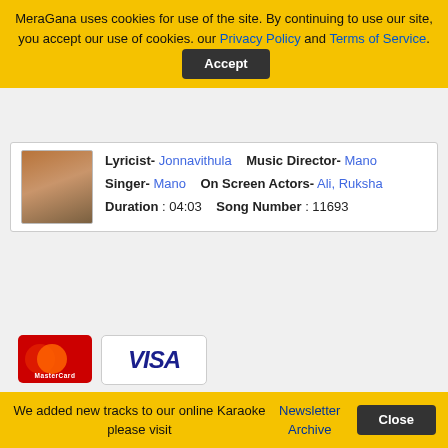MeraGana uses cookies for use of the site. By continuing to use our site, you accept our use of cookies. our Privacy Policy and Terms of Service. [Accept]
| Lyricist- Jonnavithula | Music Director- Mano |
| Singer- Mano | On Screen Actors- Ali, Ruksha |
| Duration : 04:03 | Song Number : 11693 |
[Figure (other): Payment method logos: MasterCard, Visa, 2CO, PayPal]
Terms of Service | Privacy Policy| Newsletter Archive
If you believe that any material held in by us infringes your copyright please follow the guidance in our Notice and Take Down policy.
We added new tracks to our online Karaoke please visit Newsletter Archive [Close]